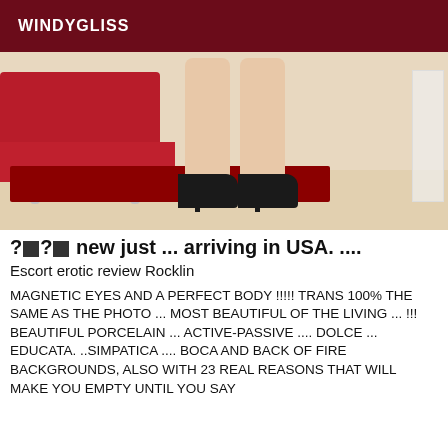WINDYGLISS
[Figure (photo): Photo of a woman's legs in black high heels, standing near a red sofa on a red rug, light-colored floor.]
?■?■ new just ... arriving in USA. ....
Escort erotic review Rocklin
MAGNETIC EYES AND A PERFECT BODY !!!!! TRANS 100% THE SAME AS THE PHOTO ... MOST BEAUTIFUL OF THE LIVING ... !!! BEAUTIFUL PORCELAIN ... ACTIVE-PASSIVE .... DOLCE ... EDUCATA. ..SIMPATICA .... BOCA AND BACK OF FIRE BACKGROUNDS, ALSO WITH 23 REAL REASONS THAT WILL MAKE YOU EMPTY UNTIL YOU SAY